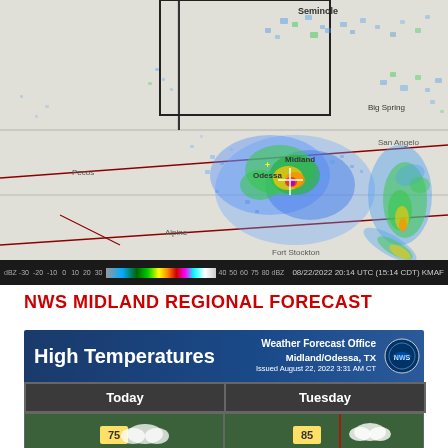[Figure (map): NEXRAD radar reflectivity map showing precipitation over the Midland/Odessa, TX region including cities: Seminole, Big Spring, Midland, Odessa, Pecos, Fort Stockton, Alpine, San Angelo. Color scale from -30 to 80 dBZ. Timestamp: 08/22/2022 20:14 UTC (15:14 CDT) KMAF]
NWS MIDLAND REGIONAL FORECAST
[Figure (infographic): NWS High Temperatures forecast graphic for Midland/Odessa, TX. Header: High Temperatures, Weather Forecast Office Midland/Odessa TX, Issued August 22, 2022 3:31 AM CT. Shows Today and Tuesday columns with map thumbnails.]